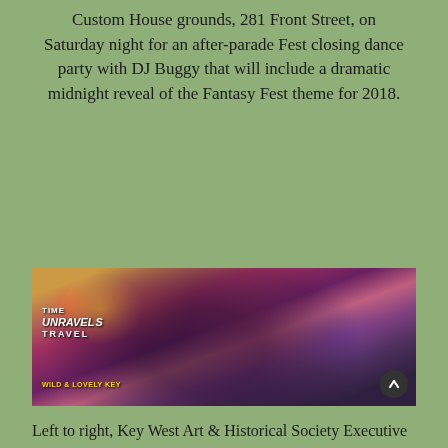Custom House grounds, 281 Front Street, on Saturday night for an after-parade Fest closing dance party with DJ Buggy that will include a dramatic midnight reveal of the Fantasy Fest theme for 2018.
[Figure (photo): Two people at a DJ booth on a stage with dramatic red and purple stage lighting. A banner in the background reads 'Time Travel Unravels'. Text at the bottom left reads 'Wild & Lovely Key...']
Left to right, Key West Art & Historical Society Executive